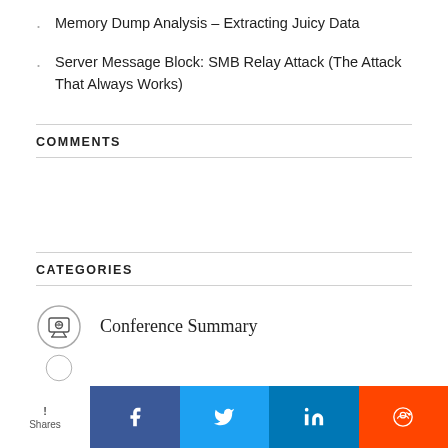Memory Dump Analysis – Extracting Juicy Data
Server Message Block: SMB Relay Attack (The Attack That Always Works)
COMMENTS
CATEGORIES
Conference Summary